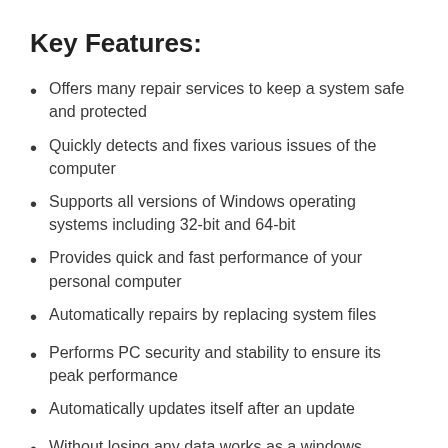Key Features:
Offers many repair services to keep a system safe and protected
Quickly detects and fixes various issues of the computer
Supports all versions of Windows operating systems including 32-bit and 64-bit
Provides quick and fast performance of your personal computer
Automatically repairs by replacing system files
Performs PC security and stability to ensure its peak performance
Automatically updates itself after an update
Without losing any data works as a windows cleanup